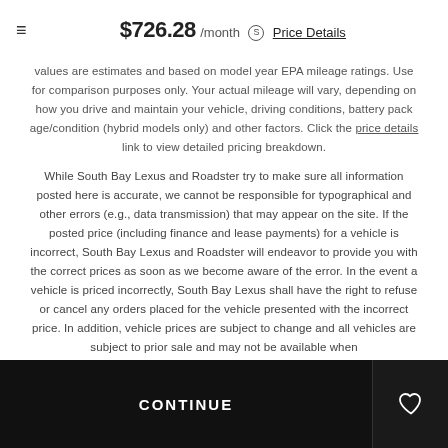$726.28 /month  Price Details
values are estimates and based on model year EPA mileage ratings. Use for comparison purposes only. Your actual mileage will vary, depending on how you drive and maintain your vehicle, driving conditions, battery pack age/condition (hybrid models only) and other factors. Click the price details link to view detailed pricing breakdown.
While South Bay Lexus and Roadster try to make sure all information posted here is accurate, we cannot be responsible for typographical and other errors (e.g., data transmission) that may appear on the site. If the posted price (including finance and lease payments) for a vehicle is incorrect, South Bay Lexus and Roadster will endeavor to provide you with the correct prices as soon as we become aware of the error. In the event a vehicle is priced incorrectly, South Bay Lexus shall have the right to refuse or cancel any orders placed for the vehicle presented with the incorrect price. In addition, vehicle prices are subject to change and all vehicles are subject to prior sale and may not be available when
CONTINUE